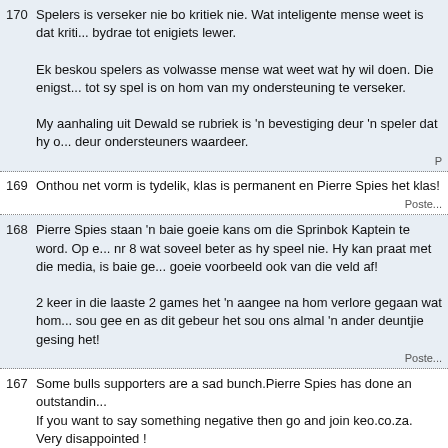170 Spelers is verseker nie bo kritiek nie. Wat inteligente mense weet is dat krit... bydrae tot enigiets lewer.

Ek beskou spelers as volwasse mense wat weet wat hy wil doen. Die enigst... tot sy spel is on hom van my ondersteuning te verseker.

My aanhaling uit Dewald se rubriek is 'n bevestiging deur 'n speler dat hy o... deur ondersteuners waardeer.
169 Onthou net vorm is tydelik, klas is permanent en Pierre Spies het klas!
168 Pierre Spies staan 'n baie goeie kans om die Sprinbok Kaptein te word. Op e... nr 8 wat soveel beter as hy speel nie. Hy kan praat met die media, is baie ge... goeie voorbeeld ook van die veld af!

2 keer in die laaste 2 games het 'n aangee na hom verlore gegaan wat hom... sou gee en as dit gebeur het sou ons almal 'n ander deuntjie gesing het!
167 Some bulls supporters are a sad bunch.Pierre Spies has done an outstandin... If you want to say something negative then go and join keo.co.za.
Very disappointed !
166 Die plus wat Spies bo ander agtste manne het is sy lynstaan kwaliteit. Hy is... agtste manne in die wereld en gee die afrigter daai ekstra keuse.
165 Die Pierre Spies kwessie sal altyd n sensitief wees.Hy doen op die oomblik... spesiaal nie.Die probleem met PS is dat as n mens aan hom dink dan sien m... langs die kantlyn af hardloop.Spanne het hom toe nie geken nie.Nou beperk...